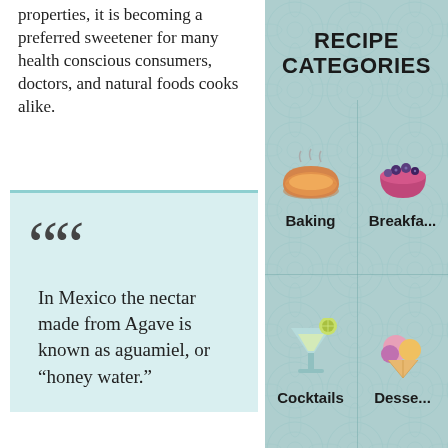properties, it is becoming a preferred sweetener for many health conscious consumers, doctors, and natural foods cooks alike.
In Mexico the nectar made from Agave is known as aguamiel, or “honey water.”
RECIPE CATEGORIES
[Figure (infographic): Recipe categories grid on teal background showing icons and labels: Baking (pie icon), Breakfast (berry bowl icon), Cocktails (margarita glass icon), Desserts (ice cream icon)]